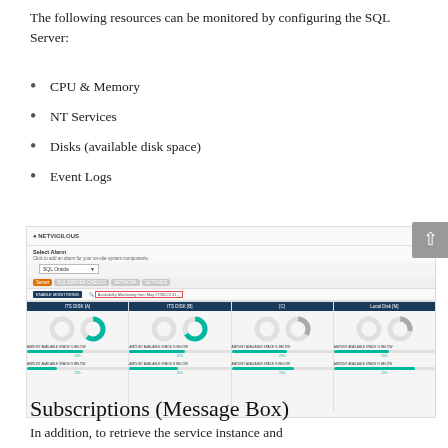The following resources can be monitored by configuring the SQL Server:
CPU & Memory
NT Services
Disks (available disk space)
Event Logs
[Figure (screenshot): Screenshot of a SQL Server monitoring configuration interface showing donut charts for disk monitoring across multiple disk drives (ITS Disk A, ITS Disk B, C, Local Disk M), with slider controls for available space thresholds below each chart.]
Subscriptions (Message Box)
In addition, to retrieve the service instance and